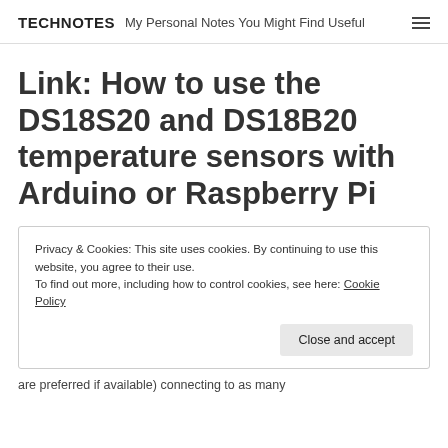TECHNOTES My Personal Notes You Might Find Useful
Link: How to use the DS18S20 and DS18B20 temperature sensors with Arduino or Raspberry Pi
Privacy & Cookies: This site uses cookies. By continuing to use this website, you agree to their use.
To find out more, including how to control cookies, see here: Cookie Policy
Close and accept
are preferred if available) connecting to as many